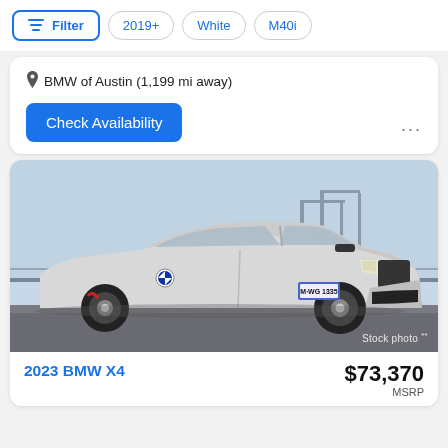Filter  2019+  White  M40i
BMW of Austin (1,199 mi away)
Check Availability
[Figure (photo): White/silver BMW X4 M40i SUV parked near a harbor with cranes in the background. License plate reads M-WG 1335. Stock photo watermark in bottom right corner.]
Stock photo **
2023 BMW X4
$73,370 MSRP